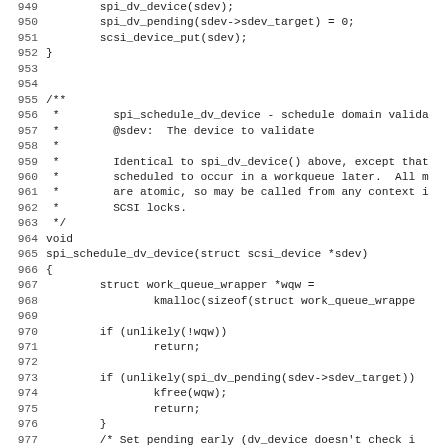Source code listing lines 949-980, showing C function spi_schedule_dv_device with inline documentation comment.